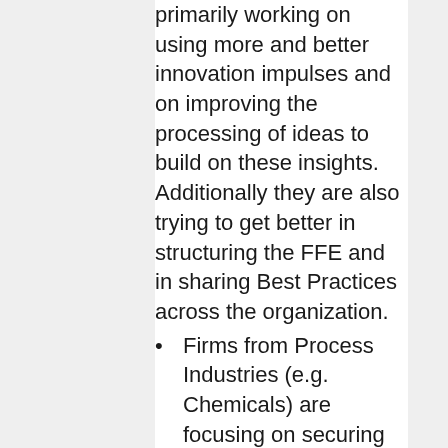primarily working on using more and better innovation impulses and on improving the processing of ideas to build on these insights. Additionally they are also trying to get better in structuring the FFE and in sharing Best Practices across the organization.
Firms from Process Industries (e.g. Chemicals) are focusing on securing management buy-in for innovation. Secondly, they are trying to leverage their existing expertise base by running internal seeker/solver processes in order to solve tough innovation challenges.
Life Sciences firms are confident that they have a world-class base of experts. For them, the key priority is to make their internal experts to share